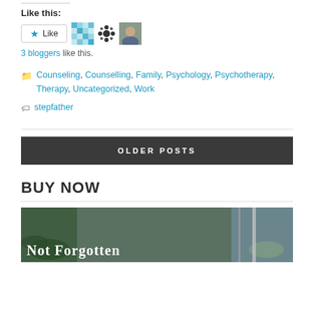Like this:
[Figure (other): Like button with star icon and three blogger avatars]
3 bloggers like this.
Counseling, Counselling, Family, Psychology, Psychotherapy, Therapy, Uncategorized, Work
stepfather
OLDER POSTS
BUY NOW
[Figure (photo): Book cover image with title 'Not Forgotten' partially visible]